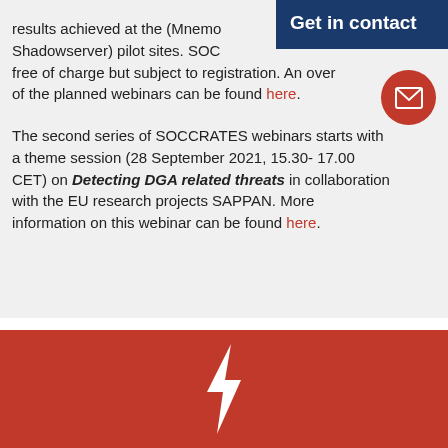results achieved at the (Mnemo... Shadowserver) pilot sites. SOCC... free of charge but subject to registration. An over... of the planned webinars can be found here.
The second series of SOCCRATES webinars starts with a theme session (28 September 2021, 15.30-17.00 CET) on Detecting DGA related threats in collaboration with the EU research projects SAPPAN. More information on this webinar can be found here.
Get in contact
[Figure (illustration): White envelope icon on dark blue background circle, representing email contact]
[Figure (illustration): Red/crimson background section with a white lightning bolt icon in the center]